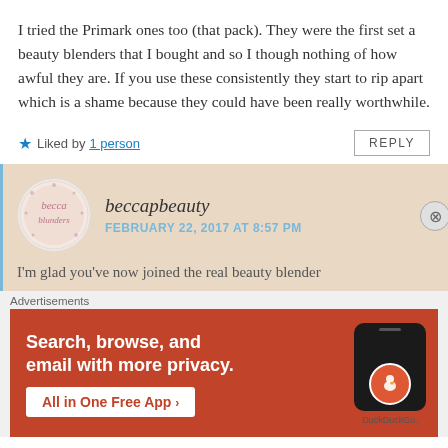I tried the Primark ones too (that pack). They were the first set a beauty blenders that I bought and so I though nothing of how awful they are. If you use these consistently they start to rip apart which is a shame because they could have been really worthwhile.
★ Liked by 1 person
REPLY
beccapbeauty
FEBRUARY 22, 2017 AT 8:57 PM
I'm glad you've now joined the real beauty blender
Advertisements
[Figure (screenshot): DuckDuckGo advertisement banner with orange background showing 'Search, browse, and email with more privacy. All in One Free App' with a phone graphic and DuckDuckGo logo]